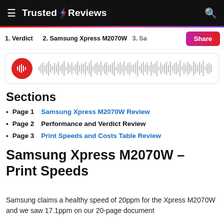≡ Trusted Reviews 🔍
[Figure (other): Audio player widget with red circular icon showing waveform bars and a grey audio waveform visualization]
Sections
Page 1   Samsung Xpress M2070W Review
Page 2   Performance and Verdict Review
Page 3   Print Speeds and Costs Table Review
Samsung Xpress M2070W – Print Speeds
Samsung claims a healthy speed of 20ppm for the Xpress M2070W and we saw 17.1ppm on our 20-page document